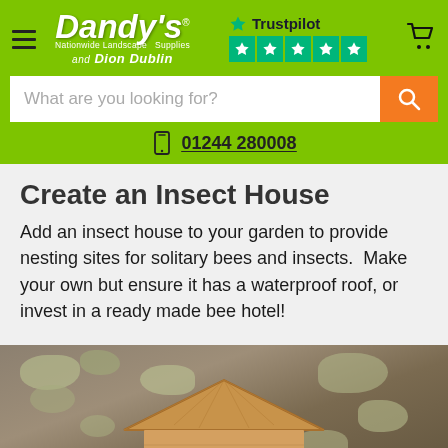[Figure (screenshot): Dandy's Nationwide Landscape Supplies website header with logo featuring Dion Dublin, Trustpilot 5-star rating, hamburger menu, cart icon, search bar with orange search button, and phone number 01244 280008 on green background]
Create an insect house
Add an insect house to your garden to provide nesting sites for solitary bees and insects.  Make your own but ensure it has a waterproof roof, or invest in a ready made bee hotel!
[Figure (photo): A wooden bee hotel/insect house with a triangular roof, placed against a mossy rock background with a blue sky visible]